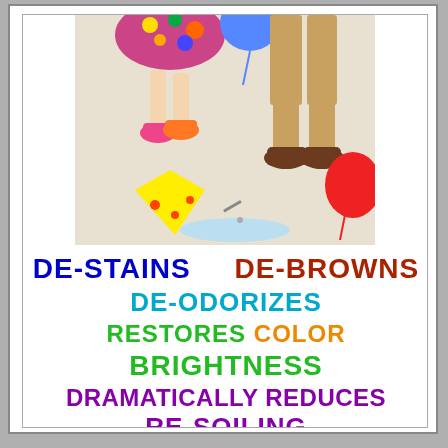[Figure (photo): Photo of people standing on a carpet with party items scattered on the floor — includes legs wearing colorful shoes, a party hat, a balloon, and other party debris on a light-colored carpet.]
DE-STAINS   DE-BROWNS
DE-ODORIZES
RESTORES COLOR
BRIGHTNESS
DRAMATICALLY REDUCES
RE-SOILING